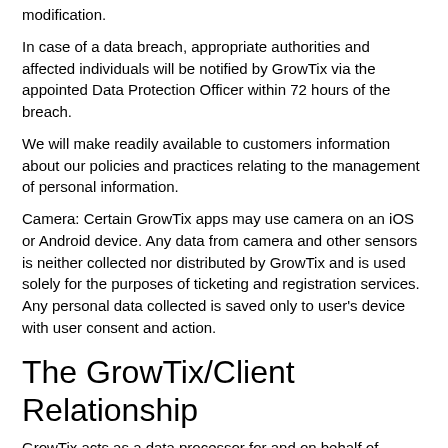modification.
In case of a data breach, appropriate authorities and affected individuals will be notified by GrowTix via the appointed Data Protection Officer within 72 hours of the breach.
We will make readily available to customers information about our policies and practices relating to the management of personal information.
Camera: Certain GrowTix apps may use camera on an iOS or Android device. Any data from camera and other sensors is neither collected nor distributed by GrowTix and is used solely for the purposes of ticketing and registration services. Any personal data collected is saved only to user's device with user consent and action.
The GrowTix/Client Relationship
GrowTix acts as a data processor for and on behalf of partners and clients in event management related services included but not limited to registration and ticketing, credit